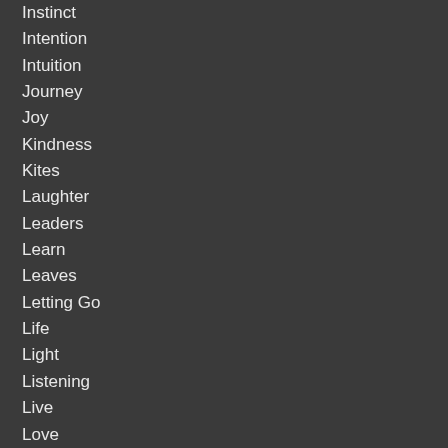Instinct
Intention
Intuition
Journey
Joy
Kindness
Kites
Laughter
Leaders
Learn
Leaves
Letting Go
Life
Light
Listening
Live
Love
Loyalty
Luck
Magic
Magnificence